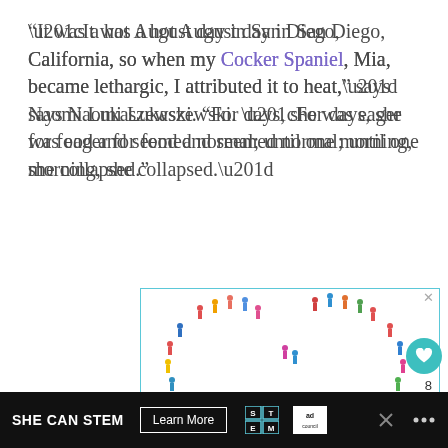“It was a hot August day in San Diego, California, so when my Cocker Spaniel, Mia, became lethargic, I attributed it to heat,” says Naomi Lukaszewski. “For days, she was eager for food and seemed normal; until one morning, she collapsed.”
[Figure (illustration): Illustration of colorful people figures arranged in a heart shape on a light teal background. The heart outline is formed by small illustrated human figures in various colors (red, blue, yellow, pink, green), viewed from above, against a white interior. A light blue border frames the image. An X close button appears in the top-right corner of the image frame.]
[Figure (other): Dark advertisement bar at the bottom: SHE CAN STEM in bold white text, a Learn More button, STEM logo grid, Ad Council logo, close X, and weather dots icon.]